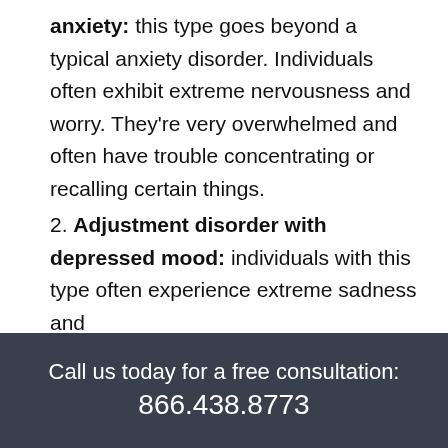anxiety: this type goes beyond a typical anxiety disorder. Individuals often exhibit extreme nervousness and worry. They're very overwhelmed and often have trouble concentrating or recalling certain things.
2. Adjustment disorder with depressed mood: individuals with this type often experience extreme sadness and
Call us today for a free consultation: 866.438.8773